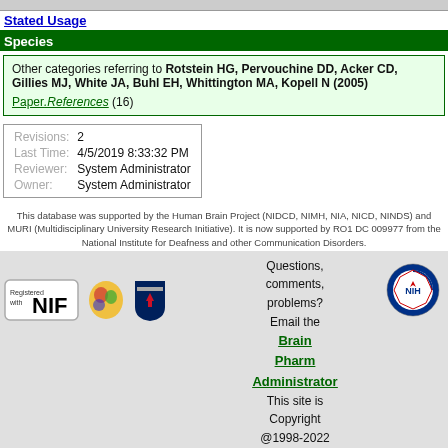Stated Usage
Species
Other categories referring to Rotstein HG, Pervouchine DD, Acker CD, Gillies MJ, White JA, Buhl EH, Whittington MA, Kopell N (2005)
Paper.References   (16)
|  |  |
| --- | --- |
| Revisions: | 2 |
| Last Time: | 4/5/2019 8:33:32 PM |
| Reviewer: | System Administrator |
| Owner: | System Administrator |
This database was supported by the Human Brain Project (NIDCD, NIMH, NIA, NICD, NINDS) and MURI (Multidisciplinary University Research Initiative). It is now supported by RO1 DC 009977 from the National Institute for Deafness and other Communication Disorders.
Questions, comments, problems? Email the Brain Pharm Administrator This site is Copyright @1998-2022 Shepherd Lab, Yale University
[Figure (logo): Registered with NIF logo, brain illustration logo, Yale shield logo, NIH logo]